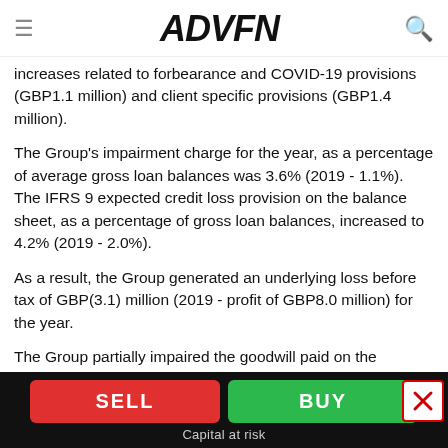ADVFN
increases related to forbearance and COVID-19 provisions (GBP1.1 million) and client specific provisions (GBP1.4 million).
The Group's impairment charge for the year, as a percentage of average gross loan balances was 3.6% (2019 - 1.1%). The IFRS 9 expected credit loss provision on the balance sheet, as a percentage of gross loan balances, increased to 4.2% (2019 - 2.0%).
As a result, the Group generated an underlying loss before tax of GBP(3.1) million (2019 - profit of GBP8.0 million) for the year.
The Group partially impaired the goodwill paid on the
SELL   BUY   Capital at risk